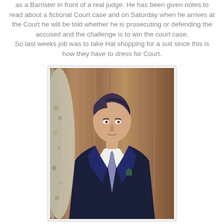as a Barrister in front of a real judge. He has been given notes to read about a fictional Court case and on Saturday when he arrives at the Court he will be told whether he is prosecuting or defending the accused and the challenge is to win the court case.
So last weeks job was to take Hal shopping for a suit since this is how they have to dress for Court.
[Figure (photo): Young man wearing a dark navy blue suit with a light purple/lavender tie and white dress shirt, standing in front of a wooden background with a curtain visible on the left side.]